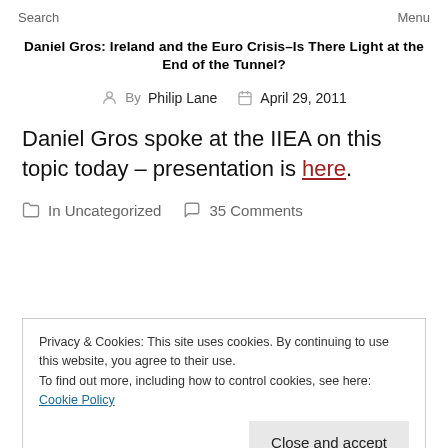Search    Menu
Daniel Gros: Ireland and the Euro Crisis–Is There Light at the End of the Tunnel?
By Philip Lane    April 29, 2011
Daniel Gros spoke at the IIEA on this topic today – presentation is here.
In Uncategorized    35 Comments
Privacy & Cookies: This site uses cookies. By continuing to use this website, you agree to their use.
To find out more, including how to control cookies, see here: Cookie Policy
Close and accept
the tunnel.